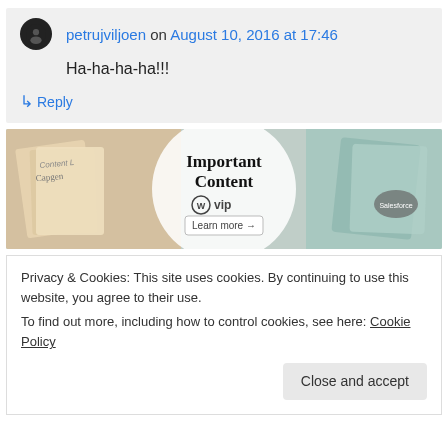petrujviljoen on August 10, 2016 at 17:46
Ha-ha-ha-ha!!!
↳ Reply
[Figure (illustration): Advertisement banner for WordPress VIP - Important Content. Shows cards/papers in background with a central circular white area containing 'Important Content', WordPress VIP logo, and 'Learn more →' button.]
Privacy & Cookies: This site uses cookies. By continuing to use this website, you agree to their use.
To find out more, including how to control cookies, see here: Cookie Policy
Close and accept